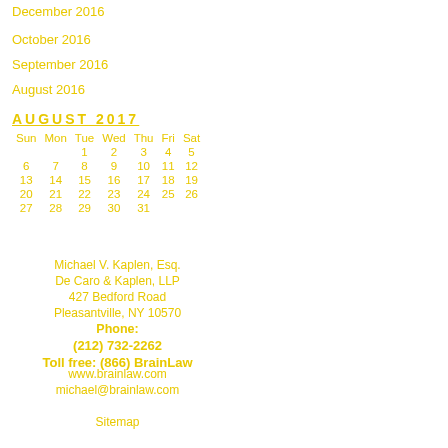December 2016
October 2016
September 2016
August 2016
| Sun | Mon | Tue | Wed | Thu | Fri | Sat |
| --- | --- | --- | --- | --- | --- | --- |
|  |  | 1 | 2 | 3 | 4 | 5 |
| 6 | 7 | 8 | 9 | 10 | 11 | 12 |
| 13 | 14 | 15 | 16 | 17 | 18 | 19 |
| 20 | 21 | 22 | 23 | 24 | 25 | 26 |
| 27 | 28 | 29 | 30 | 31 |  |  |
Michael V. Kaplen, Esq.
De Caro & Kaplen, LLP
427 Bedford Road
Pleasantville, NY 10570
Phone:
(212) 732-2262
Toll free: (866) BrainLaw
www.brainlaw.com
michael@brainlaw.com
Sitemap